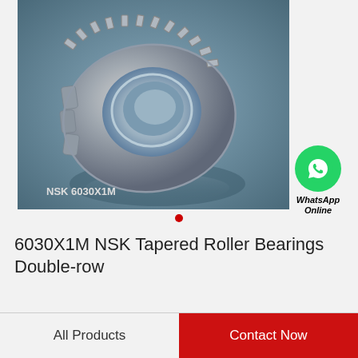[Figure (photo): NSK 6030X1M tapered roller bearing product photo on a blue-grey metallic background, showing double-row bearing with text label NSK 6030X1M]
[Figure (logo): WhatsApp green circle icon with phone handset, with text WhatsApp Online below]
6030X1M NSK Tapered Roller Bearings Double-row
All Products
Contact Now